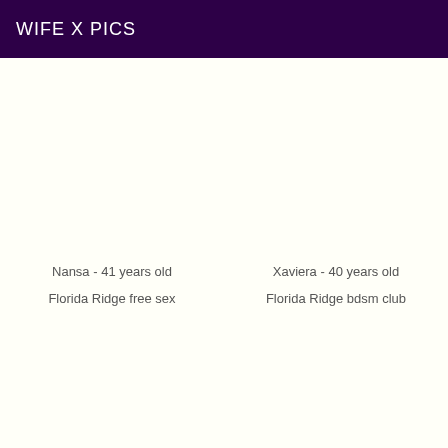WIFE X PICS
Nansa - 41 years old
Florida Ridge free sex
Xaviera - 40 years old
Florida Ridge bdsm club